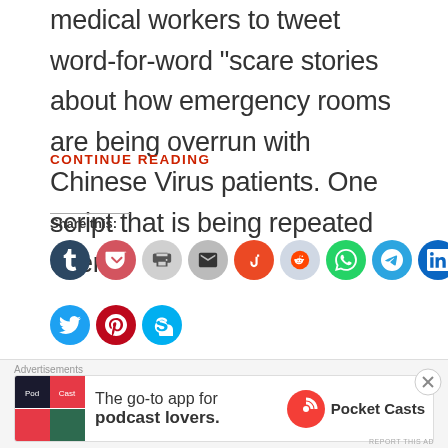medical workers to tweet word-for-word 'scare stories about how emergency rooms are being overrun with Chinese Virus patients. One script that is being repeated over …
CONTINUE READING
Share this:
[Figure (other): Social media share buttons: Tumblr, Pocket, Print, Email, StumbleUpon, Reddit, WhatsApp, Telegram, LinkedIn, Facebook, Twitter, Pinterest, Skype]
[Figure (other): Advertisement banner for Pocket Casts app: 'The go-to app for podcast lovers.' with Pocket Casts logo]